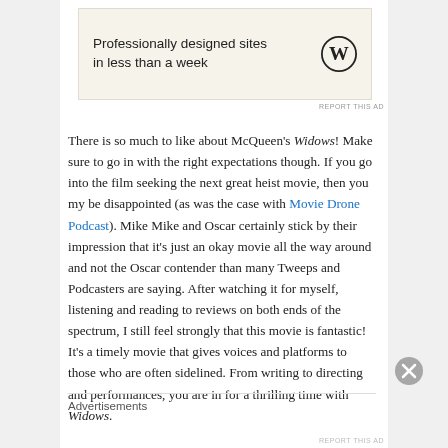[Figure (other): WordPress advertisement banner with text 'Professionally designed sites in less than a week' and WordPress logo]
REPORT THIS AD
There is so much to like about McQueen's Widows! Make sure to go in with the right expectations though. If you go into the film seeking the next great heist movie, then you my be disappointed (as was the case with Movie Drone Podcast). Mike Mike and Oscar certainly stick by their impression that it’s just an okay movie all the way around and not the Oscar contender than many Tweeps and Podcasters are saying. After watching it for myself, listening and reading to reviews on both ends of the spectrum, I still feel strongly that this movie is fantastic! It’s a timely movie that gives voices and platforms to those who are often sidelined. From writing to directing and performances, you are in for a thrilling time with Widows.
Advertisements
REPORT THIS AD